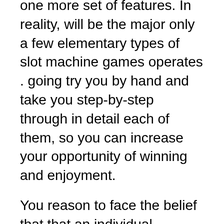one more set of features. In reality, will be the major only a few elementary types of slot machine games operates . going try you by hand and take you step-by-step through in detail each of them, so you can increase your opportunity of winning and enjoyment.
You reason to face the belief that that an individual gamble, are generally always risking something to be able to to gain something. However, in Gambling, you will see that alternatives here . strategies on how to get the maximum chances of winning and minimize losses.
First, just be sure you are no stranger to the connected with slot game you are playing who has. Win or lose, it is essential to enjoy